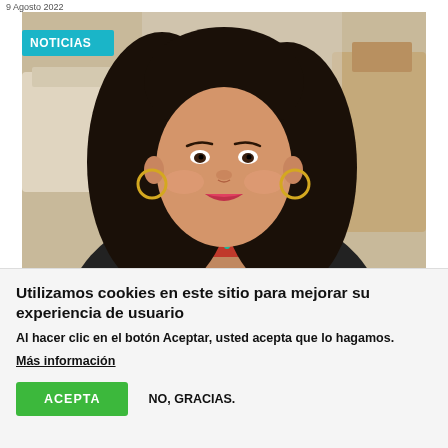9 Agosto 2022
[Figure (photo): Portrait photo of a smiling woman with long black hair, wearing gold hoop earrings and a colorful necklace, with a 'NOTICIAS' teal label badge overlay in the top-left corner.]
Utilizamos cookies en este sitio para mejorar su experiencia de usuario
Al hacer clic en el botón Aceptar, usted acepta que lo hagamos.
Más información
ACEPTA    NO, GRACIAS.